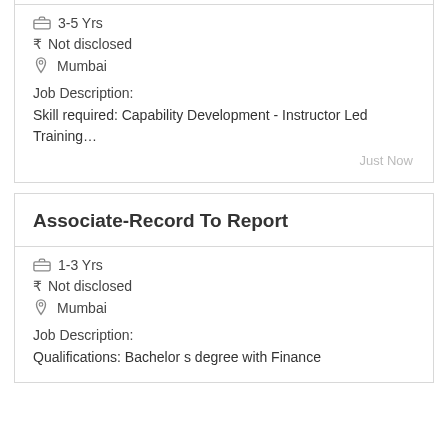3-5 Yrs
₹ Not disclosed
Mumbai
Job Description:
Skill required: Capability Development - Instructor Led Training…
Just Now
Associate-Record To Report
1-3 Yrs
₹ Not disclosed
Mumbai
Job Description:
Qualifications: Bachelor s degree with Finance